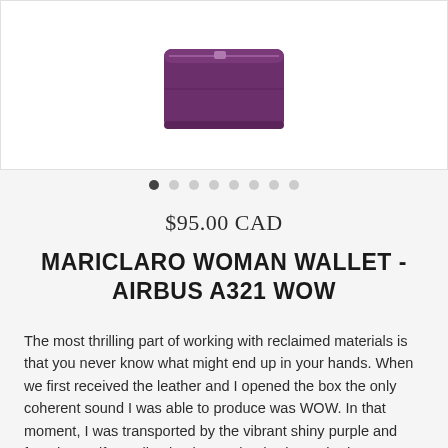[Figure (photo): Product photo of a purple leather wallet (Mariclaro Woman Wallet - Airbus A321 WOW), partially visible at top of page]
• • • • • • • • (image carousel dots, first dot active)
$95.00 CAD
MARICLARO WOMAN WALLET - AIRBUS A321 WOW
The most thrilling part of working with reclaimed materials is that you never know what might end up in your hands. When we first received the leather and I opened the box the only coherent sound I was able to produce was WOW. In that moment, I was transported by the vibrant shiny purple and found myself traveling back to Iceland, where I had one spectacular (and unplanned) visit, years ago, on my way to Germany (where I am from). Needles to